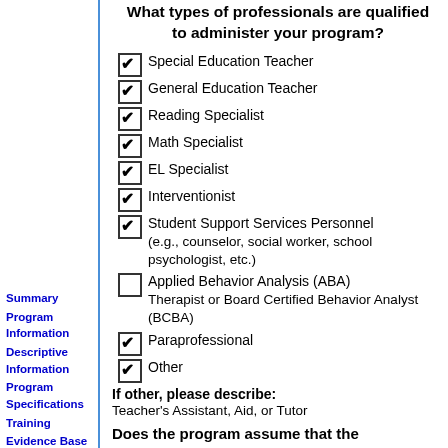What types of professionals are qualified to administer your program?
☑ Special Education Teacher
☑ General Education Teacher
☑ Reading Specialist
☑ Math Specialist
☑ EL Specialist
☑ Interventionist
☑ Student Support Services Personnel (e.g., counselor, social worker, school psychologist, etc.)
☐ Applied Behavior Analysis (ABA) Therapist or Board Certified Behavior Analyst (BCBA)
☑ Paraprofessional
☑ Other
If other, please describe:
Teacher's Assistant, Aid, or Tutor
Does the program assume that the
Summary
Program Information
Descriptive Information
Program Specifications
Training
Evidence Base
Study Information